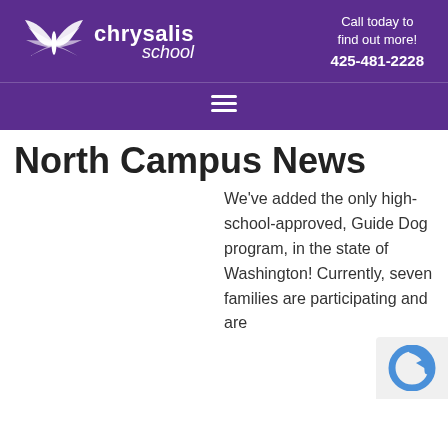chrysalis school — Call today to find out more! 425-481-2228
North Campus News
We've added the only high-school-approved, Guide Dog program, in the state of Washington! Currently, seven families are participating and are excited to welcome the puppies in early November. Students will bring their puppy to school for training guidance from the advisor. After a year of thorough preparation, the dog is paired with its future family. This